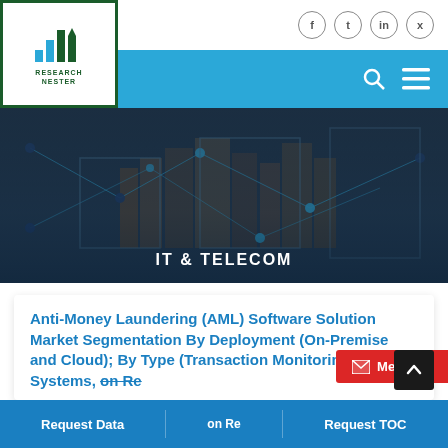[Figure (logo): Research Nester logo with bar chart icon and green border]
IT & TELECOM
Anti-Money Laundering (AML) Software Solution Market Segmentation By Deployment (On-Premise and Cloud); By Type (Transaction Monitoring Systems, on Re...
Request Data | on Re... | Request TOC